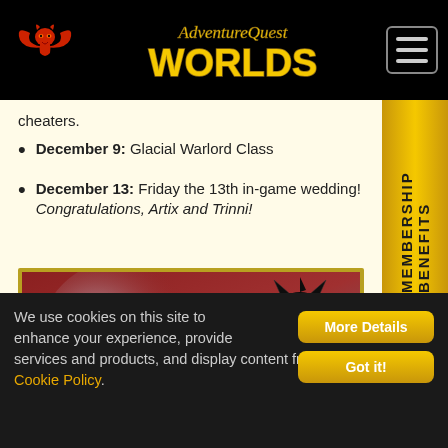AdventureQuest Worlds
cheaters.
December 9: Glacial Warlord Class
December 13: Friday the 13th in-game wedding! Congratulations, Artix and Trinni!
[Figure (illustration): In-game illustration showing three characters in black formal wear (two women and a man) on the left, and a large black robotic/dragon creature with red accents on the right, against a red and grey background. Gold border frame around the image.]
MEMBERSHIP BENEFITS
We use cookies on this site to enhance your experience, provide services and products, and display content from third parties. Cookie Policy.